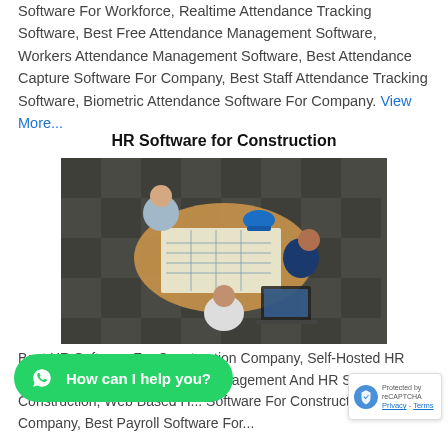Software For Workforce, Realtime Attendance Tracking Software, Best Free Attendance Management Software, Workers Attendance Management Software, Best Attendance Capture Software For Company, Best Staff Attendance Tracking Software, Biometric Attendance Software For Company. View More...
HR Software for Construction
[Figure (photo): Aerial top-down view of three people working around a table with blueprints, a laptop, a blue hard hat, and other construction planning materials on a checked floor.]
Best HR Software For Construction Company, Self-Hosted HR ... ware Solutions, Employ... Management And HR Software For Construction, Web Based H... Software For Construction Company, Best Payroll Software For...